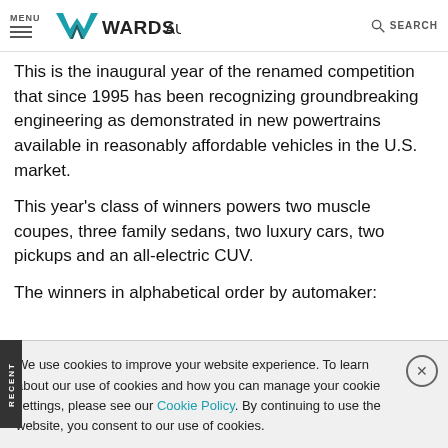MENU | WardsAuto | SEARCH
This is the inaugural year of the renamed competition that since 1995 has been recognizing groundbreaking engineering as demonstrated in new powertrains available in reasonably affordable vehicles in the U.S. market.
This year’s class of winners powers two muscle coupes, three family sedans, two luxury cars, two pickups and an all-electric CUV.
The winners in alphabetical order by automaker:
We use cookies to improve your website experience. To learn about our use of cookies and how you can manage your cookie settings, please see our Cookie Policy. By continuing to use the website, you consent to our use of cookies.